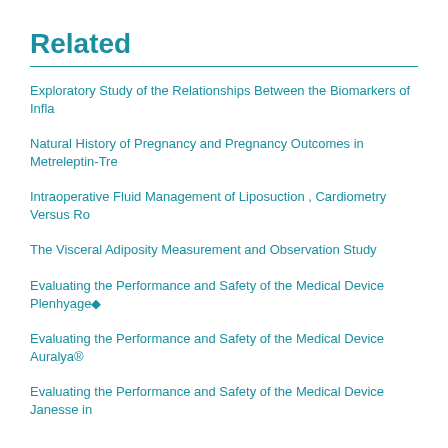Related
Exploratory Study of the Relationships Between the Biomarkers of Infla
Natural History of Pregnancy and Pregnancy Outcomes in Metreleptin-Tre
Intraoperative Fluid Management of Liposuction , Cardiometry Versus Ro
The Visceral Adiposity Measurement and Observation Study
Evaluating the Performance and Safety of the Medical Device Plenhyage◆
Evaluating the Performance and Safety of the Medical Device Auralya®
Evaluating the Performance and Safety of the Medical Device Janesse in